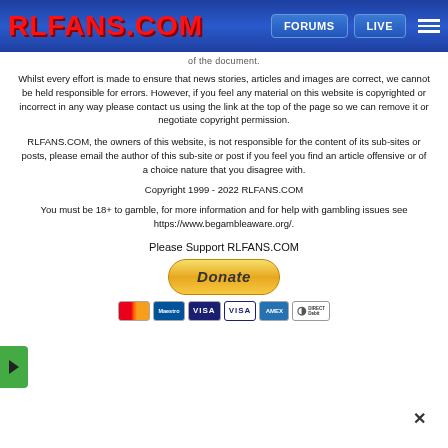RLFANS.COM | FORUMS | LIVE
of the document.
Whilst every effort is made to ensure that news stories, articles and images are correct, we cannot be held responsible for errors. However, if you feel any material on this website is copyrighted or incorrect in any way please contact us using the link at the top of the page so we can remove it or negotiate copyright permission.
RLFANS.COM, the owners of this website, is not responsible for the content of its sub-sites or posts, please email the author of this sub-site or post if you feel you find an article offensive or of a choice nature that you disagree with.
Copyright 1999 - 2022 RLFANS.COM
You must be 18+ to gamble, for more information and for help with gambling issues see https://www.begambleaware.org/.
Please Support RLFANS.COM
[Figure (other): PayPal Donate button with payment card icons (Mastercard, Maestro, Visa, Visa, Amex, Direct Debit)]